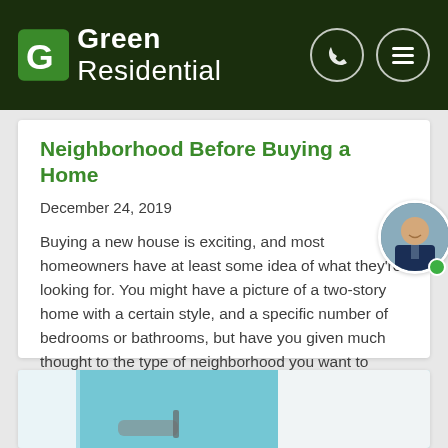Green Residential
Neighborhood Before Buying a Home
December 24, 2019
Buying a new house is exciting, and most homeowners have at least some idea of what they're looking for. You might have a picture of a two-story home with a certain style, and a specific number of bedrooms or bathrooms, but have you given much thought to the type of neighborhood you want to live... [Read More]
[Figure (photo): Bottom card with teal/blue painting scene visible at bottom of page]